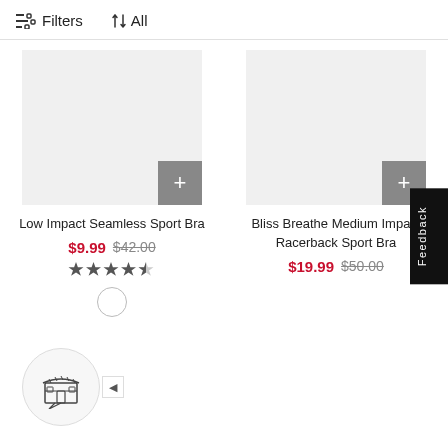Filters  ↑↓ All
Low Impact Seamless Sport Bra
$9.99  $42.00
★★★★½
Bliss Breathe Medium Impact Racerback Sport Bra
$19.99  $50.00